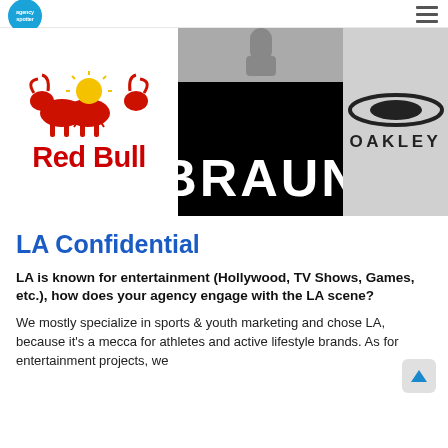agencyspotter
[Figure (logo): Red Bull logo with two bulls and yellow sun, with 'Red Bull' text in red]
[Figure (logo): Braun logo in white text on black background with grey top section]
[Figure (logo): Oakley logo with oval lens icon and OAKLEY text]
LA Confidential
LA is known for entertainment (Hollywood, TV Shows, Games, etc.), how does your agency engage with the LA scene?
We mostly specialize in sports & youth marketing and chose LA, because it's a mecca for athletes and active lifestyle brands. As for entertainment projects, we